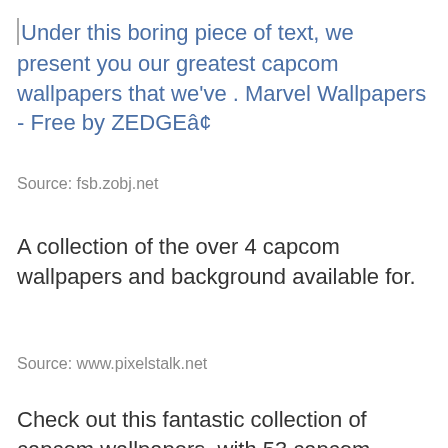Under this boring piece of text, we present you our greatest capcom wallpapers that we've . Marvel Wallpapers - Free by ZEDGEâ¢
Source: fsb.zobj.net
A collection of the over 4 capcom wallpapers and background available for.
Source: www.pixelstalk.net
Check out this fantastic collection of capcom wallpapers, with 53 capcom background images for your desktop,